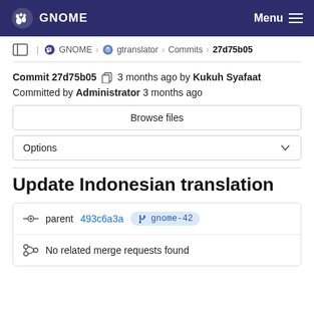GNOME   Menu
GNOME > gtranslator > Commits > 27d75b05
Commit 27d75b05  3 months ago by Kukuh Syafaat
Committed by Administrator 3 months ago
Browse files
Options
Update Indonesian translation
parent 493c6a3a  gnome-42
No related merge requests found